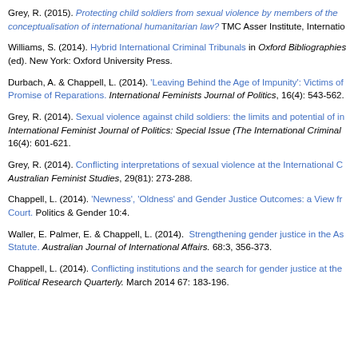Grey, R. (2015). Protecting child soldiers from sexual violence by members of the conceptualisation of international humanitarian law? TMC Asser Institute, Internatio
Williams, S. (2014). Hybrid International Criminal Tribunals in Oxford Bibliographies (ed). New York: Oxford University Press.
Durbach, A. & Chappell, L. (2014). 'Leaving Behind the Age of Impunity': Victims of Promise of Reparations. International Feminists Journal of Politics, 16(4): 543-562.
Grey, R. (2014). Sexual violence against child soldiers: the limits and potential of in International Feminist Journal of Politics: Special Issue (The International Criminal 16(4): 601-621.
Grey, R. (2014). Conflicting interpretations of sexual violence at the International C Australian Feminist Studies, 29(81): 273-288.
Chappell, L. (2014). 'Newness', 'Oldness' and Gender Justice Outcomes: a View fr Court. Politics & Gender 10:4.
Waller, E. Palmer, E. & Chappell, L. (2014). Strengthening gender justice in the As Statute. Australian Journal of International Affairs. 68:3, 356-373.
Chappell, L. (2014). Conflicting institutions and the search for gender justice at the Political Research Quarterly. March 2014 67: 183-196.